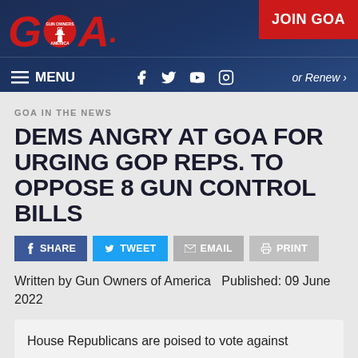GOA Gun Owners of America — JOIN GOA — MENU — or Renew
GOA IN THE NEWS
DEMS ANGRY AT GOA FOR URGING GOP REPS. TO OPPOSE 8 GUN CONTROL BILLS
SHARE   TWEET   EMAIL   PRINT
Written by Gun Owners of America   Published: 09 June 2022
House Republicans are poised to vote against